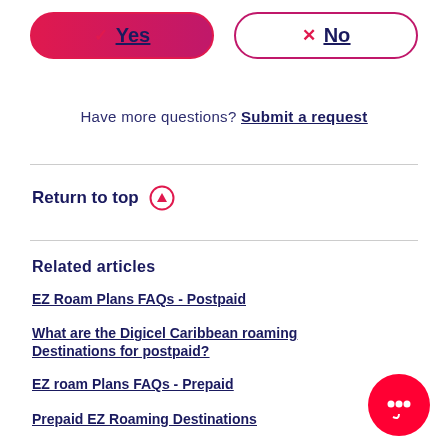[Figure (other): Two pill-shaped buttons: 'Yes' with a checkmark on the left (red/pink border), 'No' with an X on the right (pink/purple border)]
Have more questions? Submit a request
Return to top ↑
Related articles
EZ Roam Plans FAQs - Postpaid
What are the Digicel Caribbean roaming Destinations for postpaid?
EZ roam Plans FAQs - Prepaid
Prepaid EZ Roaming Destinations